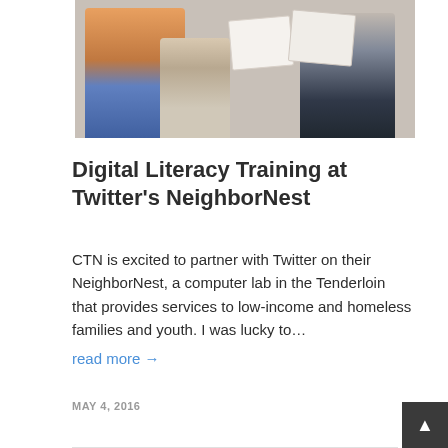[Figure (photo): Two adults and a young child posing together, holding up certificates. The adult on the left wears a colorful striped jacket. The adult on the right wears a gray shirt. The child stands between them in a gray outfit.]
Digital Literacy Training at Twitter's NeighborNest
CTN is excited to partner with Twitter on their NeighborNest, a computer lab in the Tenderloin that provides services to low-income and homeless families and youth. I was lucky to…
read more →
MAY 4, 2016